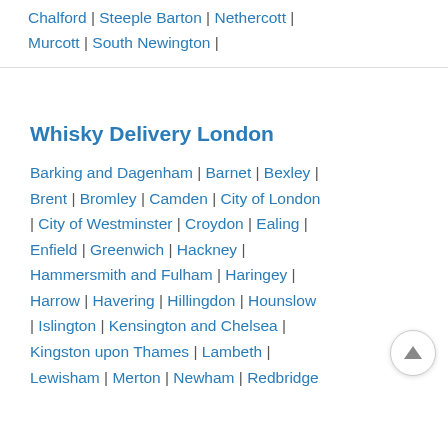Chalford | Steeple Barton | Nethercott | Murcott | South Newington |
Whisky Delivery London
Barking and Dagenham | Barnet | Bexley | Brent | Bromley | Camden | City of London | City of Westminster | Croydon | Ealing | Enfield | Greenwich | Hackney | Hammersmith and Fulham | Haringey | Harrow | Havering | Hillingdon | Hounslow | Islington | Kensington and Chelsea | Kingston upon Thames | Lambeth | Lewisham | Merton | Newham | Redbridge